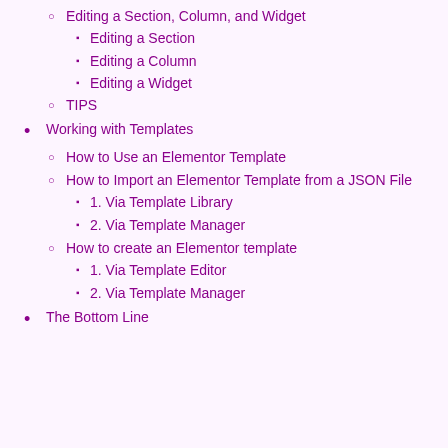Editing a Section, Column, and Widget
Editing a Section
Editing a Column
Editing a Widget
TIPS
Working with Templates
How to Use an Elementor Template
How to Import an Elementor Template from a JSON File
1. Via Template Library
2. Via Template Manager
How to create an Elementor template
1. Via Template Editor
2. Via Template Manager
The Bottom Line